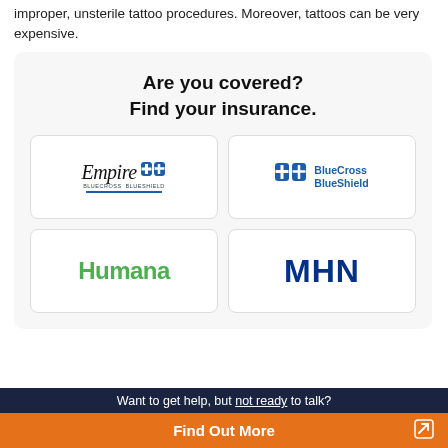improper, unsterile tattoo procedures. Moreover, tattoos can be very expensive.
Are you covered?
Find your insurance.
[Figure (logo): Empire BlueCross BlueShield logo]
[Figure (logo): BlueCross BlueShield logo]
[Figure (logo): Humana logo]
[Figure (logo): MHN logo]
Want to get help, but not ready to talk?
Find Out More